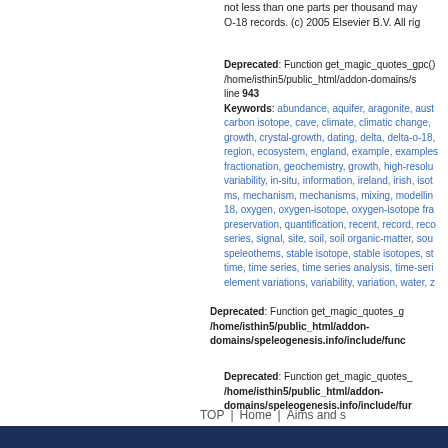not less than one parts per thousand may O-18 records. (c) 2005 Elsevier B.V. All rig
Deprecated: Function get_magic_quotes_gpc() /home/isthin5/public_html/addon-domains/s line 943
Keywords: abundance, aquifer, aragonite, aust carbon isotope, cave, climate, climatic change, growth, crystal-growth, dating, delta, delta-o-18, region, ecosystem, england, example, examples fractionation, geochemistry, growth, high-resolu variability, in-situ, information, ireland, irish, isot ms, mechanism, mechanisms, mixing, modelli 18, oxygen, oxygen-isotope, oxygen-isotope fra preservation, quantification, recent, record, reco series, signal, site, soil, soil organic-matter, sou speleothems, stable isotope, stable isotopes, st time, time series, time series analysis, time-seri element variations, variability, variation, water, z
Deprecated: Function get_magic_quotes_g /home/isthin5/public_html/addon-domains/speleogenesis.info/include/func
Deprecated: Function get_magic_quotes_ /home/isthin5/public_html/addon-domains/speleogenesis.info/include/fur
TOP | Home | Aims and s